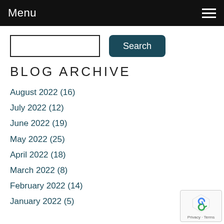Menu
Search
BLOG ARCHIVE
August 2022 (16)
July 2022 (12)
June 2022 (19)
May 2022 (25)
April 2022 (18)
March 2022 (8)
February 2022 (14)
January 2022 (5)